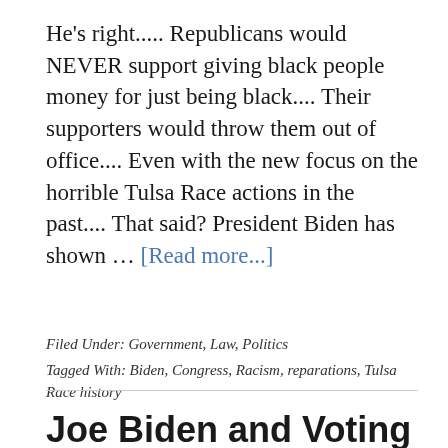He's right..... Republicans would NEVER support giving black people money for just being black.... Their supporters would throw them out of office.... Even with the new focus on the horrible Tulsa Race actions in the past.... That said? President Biden has shown … [Read more...]
Filed Under: Government, Law, Politics
Tagged With: Biden, Congress, Racism, reparations, Tulsa Race history
Joe Biden and Voting Rights....Again....